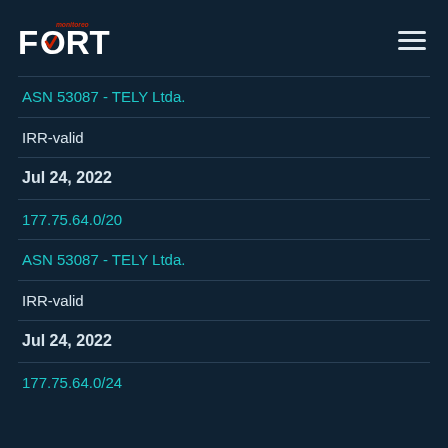[Figure (logo): Fort Monitoreo logo with checkmark and hamburger menu icon]
ASN 53087 - TELY Ltda.
IRR-valid
Jul 24, 2022
177.75.64.0/20
ASN 53087 - TELY Ltda.
IRR-valid
Jul 24, 2022
177.75.64.0/24